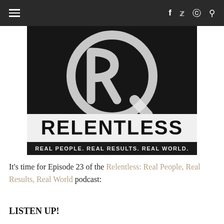≡  f  🐦  📷  🔍
[Figure (logo): Relentless podcast logo: dark/black background with large stylized R/Q monogram in white, text RELENTLESS in bold white letters, tagline REAL PEOPLE. REAL RESULTS. REAL WORLD.]
It's time for Episode 23 of the Relentless: Real People, Real Results, Real World podcast:
LISTEN UP!